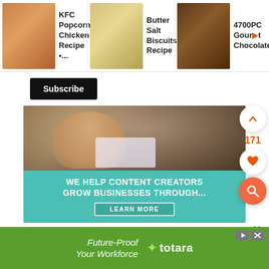[Figure (screenshot): Recipe card strip showing KFC Popcorn Chicken Recipe, Butter Salt Biscuits Recipe, and 4700PC Gourmet Chocolate with thumbnail images]
Subscribe
[Figure (photo): Advertisement banner: woman smiling at laptop. Text reads WE HELP CONTENT CREATORS GROW BUSINESSES THROUGH... with a LEARN MORE button on teal background]
171
13)Add salt
[Figure (screenshot): Bottom advertisement for Future-Proof Your Workforce by totara on green background]